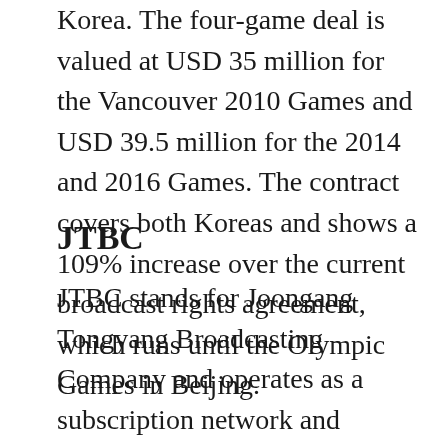Korea. The four-game deal is valued at USD 35 million for the Vancouver 2010 Games and USD 39.5 million for the 2014 and 2016 Games. The contract covers both Koreas and shows a 109% increase over the current broadcast rights agreement, which runs until the Olympic Games in Beijing.
JTBC
JTBC stands for Joongang Tongyang Broadcasting Company and operates as a subscription network and broadcasting company. The JTBC sports broadcasting network is popular for its fresh take style and strategy in broadcasting sports media content. Unlike most other Korean broadcasters, JTBC has introduced new ways of